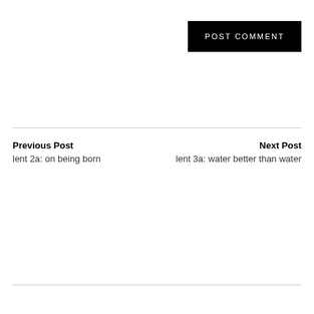POST COMMENT
Previous Post
lent 2a: on being born
Next Post
lent 3a: water better than water